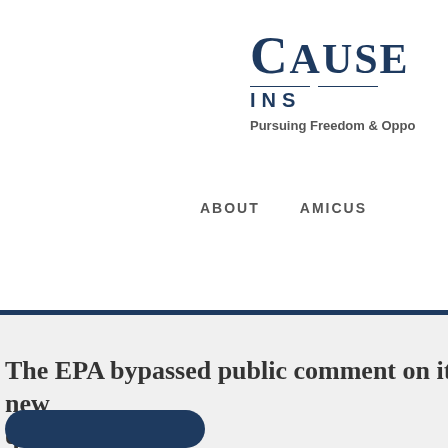[Figure (logo): Cause Institute logo with name CAUSE and INS text, double horizontal lines, tagline Pursuing Freedom & Opportunity]
ABOUT    AMICUS
The EPA bypassed public comment on its new questions